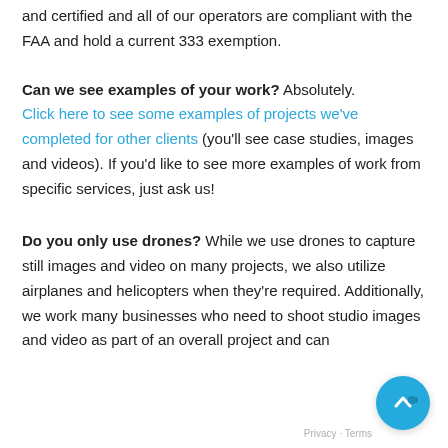and certified and all of our operators are compliant with the FAA and hold a current 333 exemption.
Can we see examples of your work? Absolutely. Click here to see some examples of projects we've completed for other clients (you'll see case studies, images and videos). If you'd like to see more examples of work from specific services, just ask us!
Do you only use drones? While we use drones to capture still images and video on many projects, we also utilize airplanes and helicopters when they're required. Additionally, we work many businesses who need to shoot studio images and video as part of an overall project and can